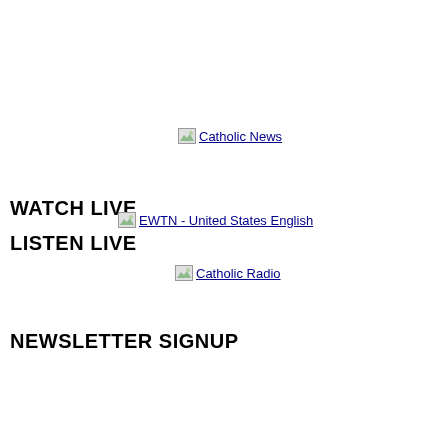[Figure (screenshot): Broken image placeholder link labeled 'Catholic News']
WATCH LIVE
[Figure (screenshot): Broken image placeholder link labeled 'EWTN - United States English']
LISTEN LIVE
[Figure (screenshot): Broken image placeholder link labeled 'Catholic Radio']
NEWSLETTER SIGNUP